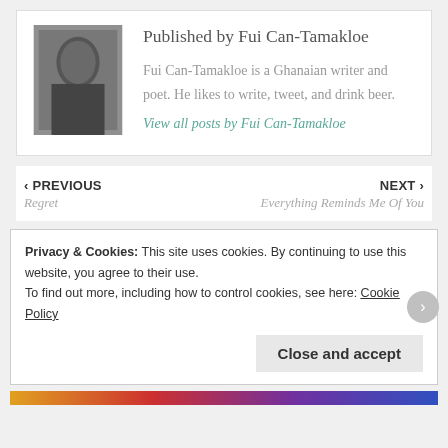[Figure (photo): Black and white portrait photo of Fui Can-Tamakloe]
Published by Fui Can-Tamakloe
Fui Can-Tamakloe is a Ghanaian writer and poet. He likes to write, tweet, and drink beer.
View all posts by Fui Can-Tamakloe
‹ PREVIOUS
Regret
NEXT ›
Everything Reminds Me Of You
Privacy & Cookies: This site uses cookies. By continuing to use this website, you agree to their use.
To find out more, including how to control cookies, see here: Cookie Policy
Close and accept